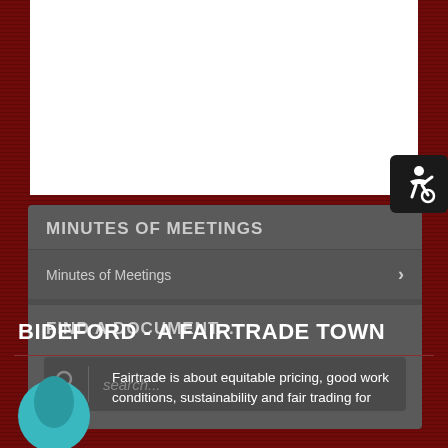[Figure (screenshot): White content area at top of page (partial website screenshot)]
MINUTES OF MEETINGS
Minutes of Meetings
FIND A DOCUMENT...
search...
BIDEFORD - A FAIRTRADE TOWN
Fairtrade is about equitable pricing, good work conditions, sustainability and fair trading for